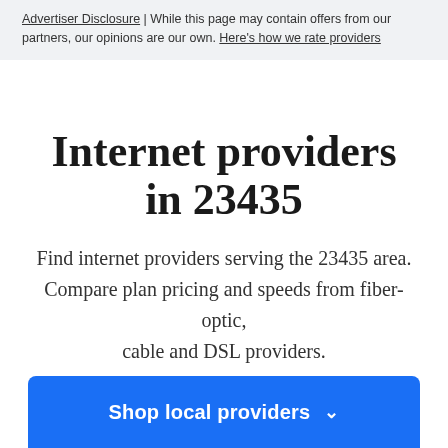Advertiser Disclosure | While this page may contain offers from our partners, our opinions are our own. Here's how we rate providers
Internet providers in 23435
Find internet providers serving the 23435 area. Compare plan pricing and speeds from fiber-optic, cable and DSL providers.
Shop local providers ∨